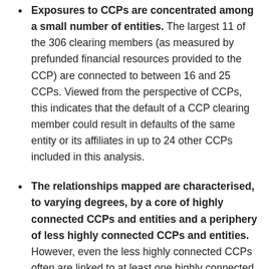Exposures to CCPs are concentrated among a small number of entities. The largest 11 of the 306 clearing members (as measured by prefunded financial resources provided to the CCP) are connected to between 16 and 25 CCPs. Viewed from the perspective of CCPs, this indicates that the default of a CCP clearing member could result in defaults of the same entity or its affiliates in up to 24 other CCPs included in this analysis.
The relationships mapped are characterised, to varying degrees, by a core of highly connected CCPs and entities and a periphery of less highly connected CCPs and entities. However, even the less highly connected CCPs often are linked to at least one highly connected entity that indirectly connects the CCP into the more interconnected part of the network structure.